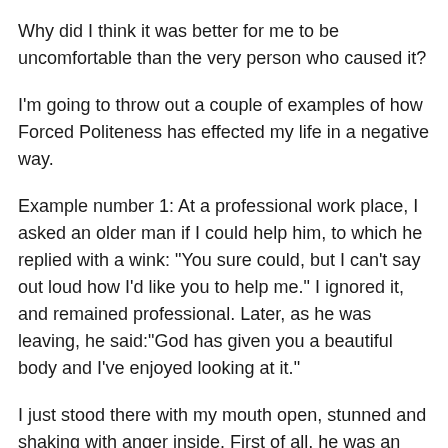Why did I think it was better for me to be uncomfortable than the very person who caused it?
I'm going to throw out a couple of examples of how Forced Politeness has effected my life in a negative way.
Example number 1: At a professional work place, I asked an older man if I could help him, to which he replied with a wink: "You sure could, but I can't say out loud how I'd like you to help me." I ignored it, and remained professional. Later, as he was leaving, he said:"God has given you a beautiful body and I've enjoyed looking at it."
I just stood there with my mouth open, stunned and shaking with anger inside. First of all, he was an elder and so my brain thought: "maybe he doesn't know in this era you can't say